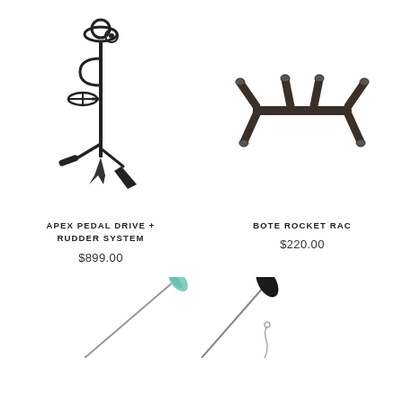[Figure (illustration): Apex Pedal Drive + Rudder System mechanical pedal drive unit in black]
APEX PEDAL DRIVE + RUDDER SYSTEM
$899.00
[Figure (illustration): Bote Rocket Rack accessory mount in dark bronze/black metal]
BOTE ROCKET RAC
$220.00
[Figure (illustration): Two paddles — one with a teal/mint tip and one solid black — partially shown at bottom of page]